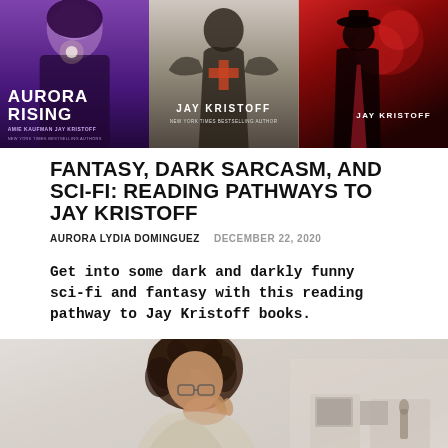[Figure (photo): Three book covers by Jay Kristoff side by side: Aurora Rising (purple/dark cover), a grey/dark fantasy cover, and a red cover, all displayed as a banner image]
FANTASY, DARK SARCASM, AND SCI-FI: READING PATHWAYS TO JAY KRISTOFF
AURORA LYDIA DOMINGUEZ   DECEMBER 22, 2020
Get into some dark and darkly funny sci-fi and fantasy with this reading pathway to Jay Kristoff books.
[Figure (photo): A person with curly dark hair holding something near their face, sitting at a desk, with framed pictures and shelves visible in background]